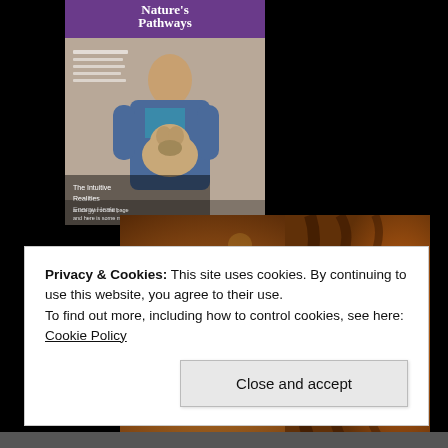[Figure (photo): Nature's Pathways magazine cover showing a woman holding a pug dog, with text 'Nature's Pathways' and 'The Intuitive Realities Energy Healer']
[Figure (photo): Motivational image with a tiger's eye close-up and text 'STAY FOCUSED ON WHAT YOU ARE MANIFESTING' on a warm bokeh background]
Privacy & Cookies: This site uses cookies. By continuing to use this website, you agree to their use.
To find out more, including how to control cookies, see here: Cookie Policy
Close and accept